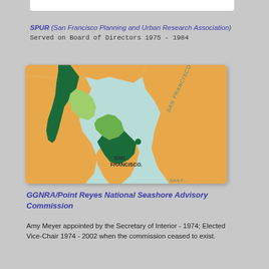SPUR (San Francisco Planning and Urban Research Association)
Served on Board of Directors 1975 - 1984
[Figure (map): Map of the San Francisco Bay Area showing GGNRA/Golden Gate National Recreation Area boundaries in green along the coast and Peninsula, with San Francisco Bay labeled, San Francisco city labeled, and surrounding land in orange/tan colors. Water areas in light blue/teal.]
GGNRA/Point Reyes National Seashore Advisory Commission
Amy Meyer appointed by the Secretary of Interior - 1974; Elected Vice-Chair 1974 - 2002 when the commission ceased to exist.